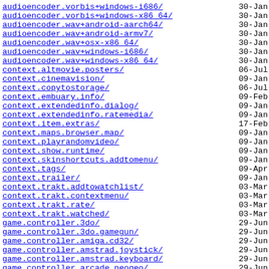audioencoder.vorbis+windows-i686/
audioencoder.vorbis+windows-x86_64/
audioencoder.wav+android-aarch64/
audioencoder.wav+android-armv7/
audioencoder.wav+osx-x86_64/
audioencoder.wav+windows-i686/
audioencoder.wav+windows-x86_64/
context.altmovie.posters/
context.cinemavision/
context.copytostorage/
context.embuary.info/
context.extendedinfo.dialog/
context.extendedinfo.ratemedia/
context.item.extras/
context.maps.browser.map/
context.playrandomvideo/
context.show.runtime/
context.skinshortcuts.addtomenu/
context.tags/
context.trailer/
context.trakt.addtowatchlist/
context.trakt.contextmenu/
context.trakt.rate/
context.trakt.watched/
game.controller.3do/
game.controller.3do.gamegun/
game.controller.amiga.cd32/
game.controller.amstrad.joystick/
game.controller.amstrad.keyboard/
game.controller.arcade.neogeo/